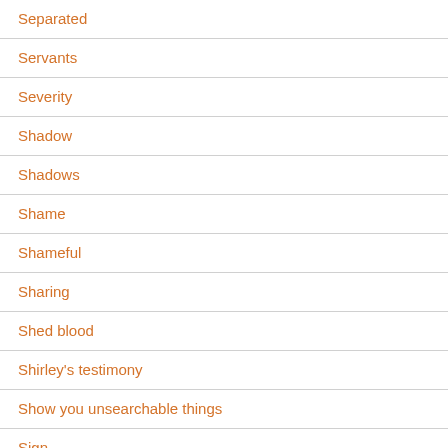Separated
Servants
Severity
Shadow
Shadows
Shame
Shameful
Sharing
Shed blood
Shirley's testimony
Show you unsearchable things
Sign